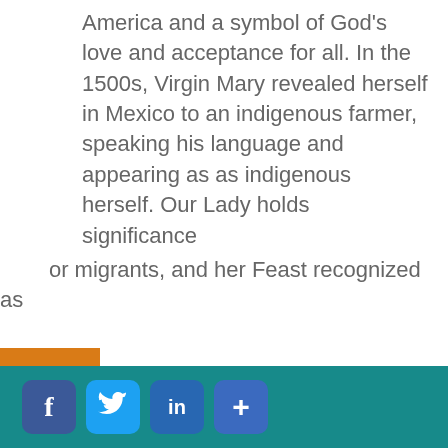America and a symbol of God's love and acceptance for all.  In the 1500s, Virgin Mary revealed herself in Mexico to an indigenous farmer, speaking his language and appearing as as indigenous herself. Our Lady holds significance
or migrants, and her Feast recognized as
This site uses session, functional, analytics and third-party cookies to improve your experience. Please click on "learn more" to read our cookies policy.
ACCEPT
Learn More
[Figure (other): Give Now orange vertical tab on the left side of the page with a heart icon]
[Figure (other): Social media icons row: Facebook (f), Twitter (bird), LinkedIn (in), plus (+) button, on teal background]